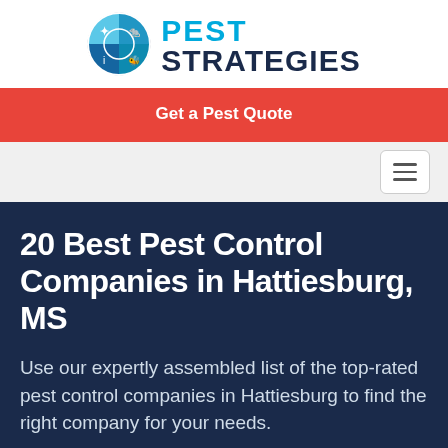[Figure (logo): Pest Strategies logo with circular crosshair icon containing pest illustrations, and text PEST STRATEGIES in blue and dark navy]
Get a Pest Quote
[Figure (other): Hamburger menu button (three horizontal lines) on a light gray navigation bar]
20 Best Pest Control Companies in Hattiesburg, MS
Use our expertly assembled list of the top-rated pest control companies in Hattiesburg to find the right company for your needs.